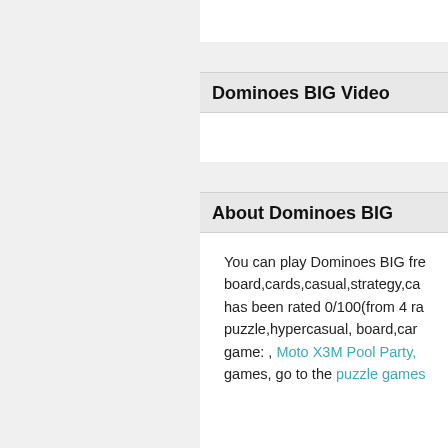Dominoes BIG Video
About Dominoes BIG
You can play Dominoes BIG fre board,cards,casual,strategy,ca has been rated 0/100(from 4 ra puzzle,hypercasual, board,card game: , Moto X3M Pool Party, games, go to the puzzle games